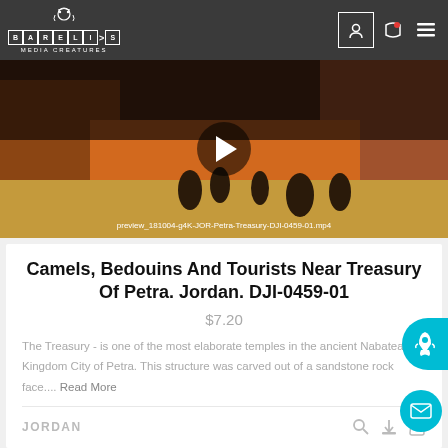BARELIS MEDIA CREATURES
[Figure (screenshot): Video player thumbnail showing camels, tourists, and Bedouins near the Treasury of Petra, Jordan. Play button overlay visible. Filename: preview_181004-g4K-JOR-Petra-Treasury-DJI-0459-01.mp4]
Camels, Bedouins And Tourists Near Treasury Of Petra. Jordan. DJI-0459-01
$7.20
The Treasury - is one of the most elaborate temples in the ancient Nabatean Kingdom City of Petra. This structure was carved out of a sandstone rock face.... Read More
JORDAN